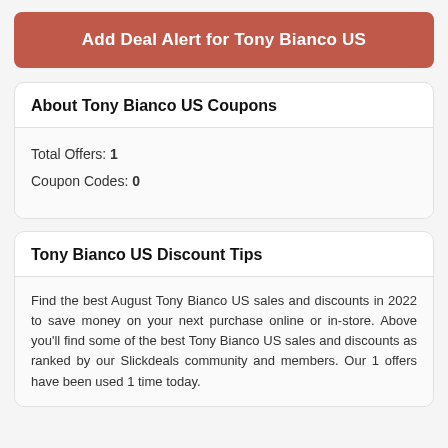Add Deal Alert for Tony Bianco US
About Tony Bianco US Coupons
Total Offers: 1
Coupon Codes: 0
Tony Bianco US Discount Tips
Find the best August Tony Bianco US sales and discounts in 2022 to save money on your next purchase online or in-store. Above you'll find some of the best Tony Bianco US sales and discounts as ranked by our Slickdeals community and members. Our 1 offers have been used 1 time today.